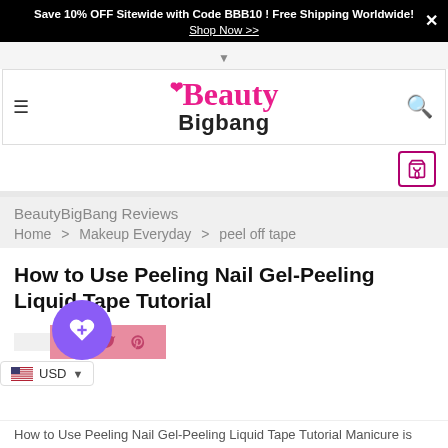Save 10% OFF Sitewide with Code BBB10 ! Free Shipping Worldwide! Shop Now >>
[Figure (logo): Beauty Bigbang logo with hamburger menu and search icon]
BeautyBigBang Reviews
Home > Makeup Everyday > peel off tape
How to Use Peeling Nail Gel-Peeling Liquid Tape Tutorial
[Figure (other): Social share bar with Facebook, Twitter, Pinterest icons]
How to Use Peeling Nail Gel-Peeling Liquid Tape Tutorial Manicure is